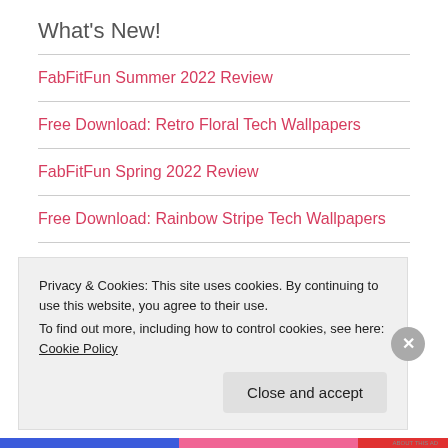What's New!
FabFitFun Summer 2022 Review
Free Download: Retro Floral Tech Wallpapers
FabFitFun Spring 2022 Review
Free Download: Rainbow Stripe Tech Wallpapers
Let's Get Social!
Privacy & Cookies: This site uses cookies. By continuing to use this website, you agree to their use.
To find out more, including how to control cookies, see here: Cookie Policy
Close and accept